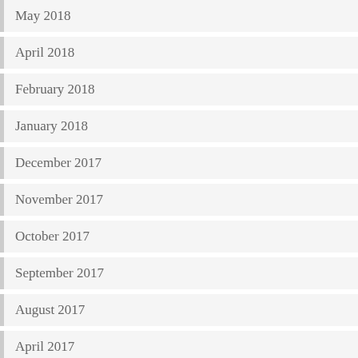May 2018
April 2018
February 2018
January 2018
December 2017
November 2017
October 2017
September 2017
August 2017
April 2017